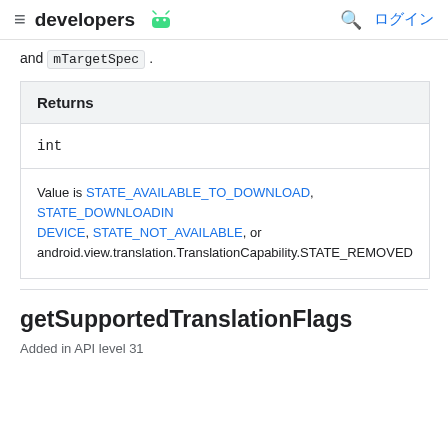developers [android logo] ログイン
and mTargetSpec.
| Returns |
| --- |
| int |
| Value is STATE_AVAILABLE_TO_DOWNLOAD, STATE_DOWNLOADING, DEVICE, STATE_NOT_AVAILABLE, or android.view.translation.TranslationCapability.STATE_REMOVED |
getSupportedTranslationFlags
Added in API level 31